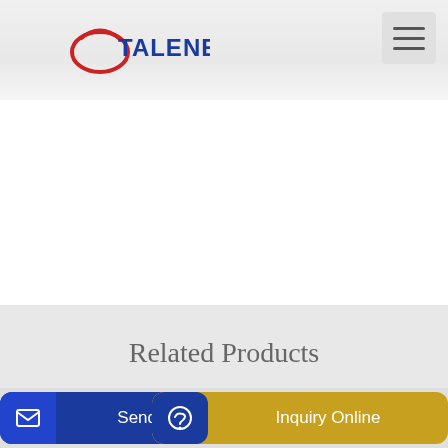[Figure (logo): Talenet logo with red oval and blue text]
Related Products
New and Used FORD LT9513 Mixer Truck For Sale
2019 Bobcat Concrete Mixer Base
Send Message | Inquiry Online